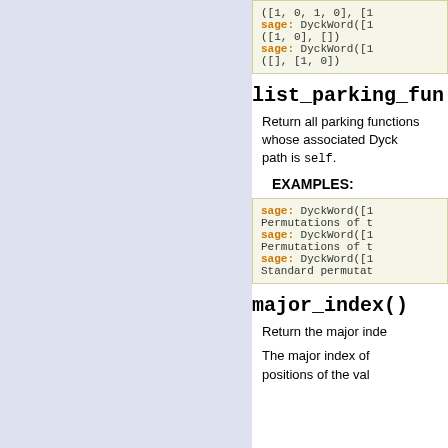[Figure (screenshot): Left navigation panel with light purple/lavender background]
([1, 0, 1, 0], [1
sage: DyckWord([1
([1, 0], [])
sage: DyckWord([1
([], [1, 0])
list_parking_fun
Return all parking functions whose associated Dyck path is self.
EXAMPLES:
sage: DyckWord([1
Permutations of t
sage: DyckWord([1
Permutations of t
sage: DyckWord([1
Standard permutat
major_index()
Return the major index of self.
The major index of a Dyck word is the sum of the positions of the valleys